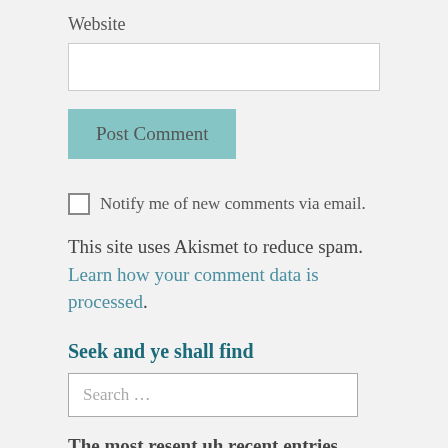Website
Post Comment
Notify me of new comments via email.
This site uses Akismet to reduce spam. Learn how your comment data is processed.
Seek and ye shall find
Search …
The most resent uh recent entries